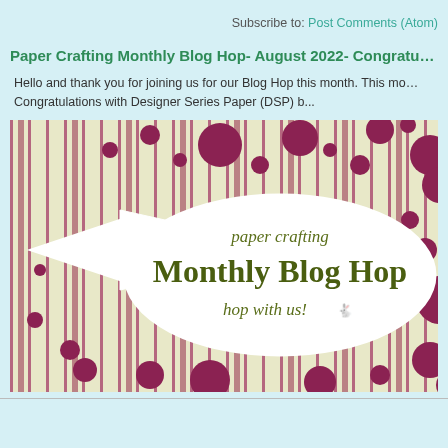Subscribe to: Post Comments (Atom)
Paper Crafting Monthly Blog Hop- August 2022- Congratu…
Hello and thank you for joining us for our Blog Hop this month. This mo… Congratulations with Designer Series Paper (DSP) b...
[Figure (illustration): Paper Crafting Monthly Blog Hop banner/logo image with striped background in beige and dark red/maroon vertical stripes, large maroon polka dots, an oval white label reading 'paper crafting Monthly Blog Hop hop with us!', and a white arrow/banner shape on the left side.]